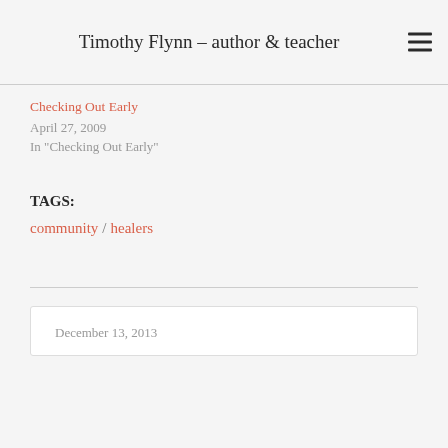Timothy Flynn – author & teacher
Checking Out Early
April 27, 2009
In "Checking Out Early"
TAGS:
community / healers
December 13, 2013